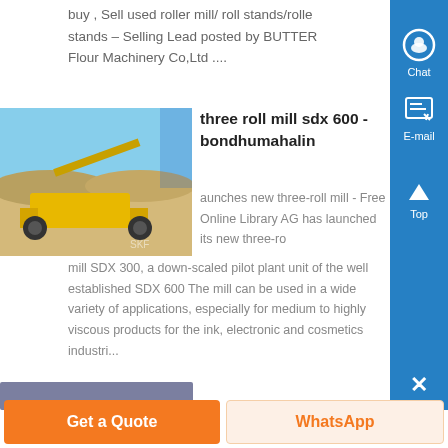buy , Sell used roller mill/ roll stands/rolle stands – Selling Lead posted by BUTTER Flour Machinery Co,Ltd ....
[Figure (photo): Outdoor mining/quarrying equipment scene with yellow machinery in a desert landscape]
three roll mill sdx 600 - bondhumahalin
aunches new three-roll mill - Free Online Library AG has launched its new three-ro mill SDX 300, a down-scaled pilot plant unit of the well established SDX 600 The mill can be used in a wide variety of applications, especially for medium to highly viscous products for the ink, electronic and cosmetics industri...
Get a Quote
WhatsApp